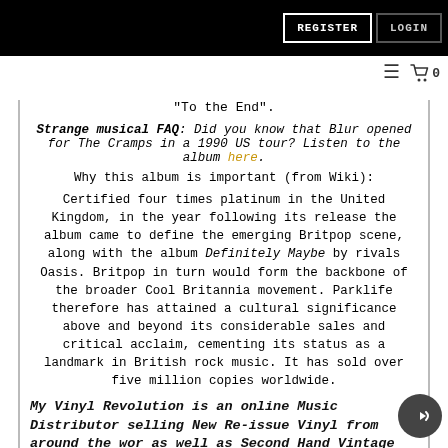REGISTER  LOGIN
“To the End”.
Strange musical FAQ: Did you know that Blur opened for The Cramps in a 1990 US tour? Listen to the album here.
Why this album is important (from Wiki):
Certified four times platinum in the United Kingdom, in the year following its release the album came to define the emerging Britpop scene, along with the album Definitely Maybe by rivals Oasis. Britpop in turn would form the backbone of the broader Cool Britannia movement. Parklife therefore has attained a cultural significance above and beyond its considerable sales and critical acclaim, cementing its status as a landmark in British rock music. It has sold over five million copies worldwide.
My Vinyl Revolution is an online Music Distributor selling New Re-issue Vinyl from around the world as well as Second Hand Vintage Records in Australia and globally. If...